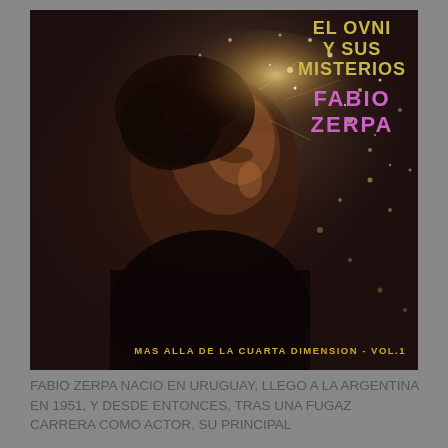[Figure (illustration): Vinyl album cover for 'El Ovni Y Sus Misterios' by Fabio Zerpa. Dark brownish background showing a man's face (Fabio Zerpa) looking upward with a dramatic stardust/cosmic particle effect around his head. Top right shows title text 'EL OVNI Y SUS MISTERIOS' in gold, and 'FABIO ZERPA' in pink/magenta. Bottom right text reads 'MAS ALLA DE LA CUARTA DIMENSION - VOL.1' in gold.]
FABIO ZERPA NACIO EN URUGUAY, LLEGO A LA ARGENTINA EN 1951, Y DESDE ENTONCES, TRAS UNA FUGAZ CARRERA COMO ACTOR, SU PRINCIPAL